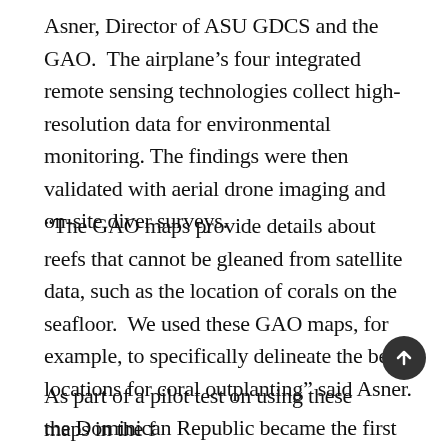Asner, Director of ASU GDCS and the GAO.  The airplane's four integrated remote sensing technologies collect high-resolution data for environmental monitoring. The findings were then validated with aerial drone imaging and on-site diver surveys.
“The GAO maps provide details about reefs that cannot be gleaned from satellite data, such as the location of corals on the seafloor.  We used these GAO maps, for example, to specifically delineate the best locations for coral outplanting” said Asner.
As part of a pilot test on using these maps in the [field], the Dominican Republic became the first country to utilize this new technology. In 2019, TNC and local...